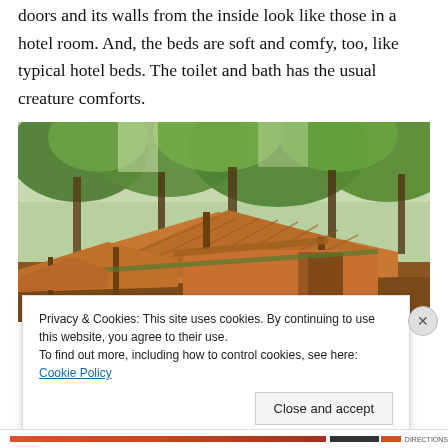doors and its walls from the inside look like those in a hotel room. And, the beds are soft and comfy, too, like typical hotel beds. The toilet and bath has the usual creature comforts.
[Figure (photo): Exterior photo of safari-style tent cabins with orange canvas walls, wooden support poles, and corrugated metal roofs, surrounded by tall green trees]
Privacy & Cookies: This site uses cookies. By continuing to use this website, you agree to their use.
To find out more, including how to control cookies, see here: Cookie Policy
Close and accept